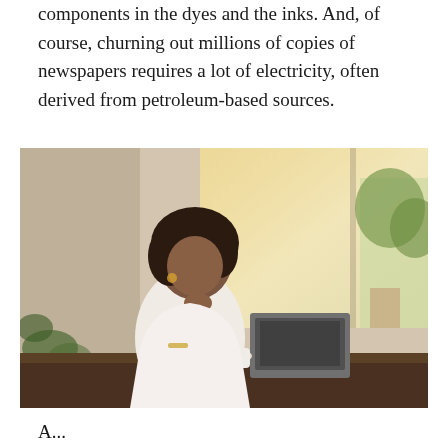components in the dyes and the inks. And, of course, churning out millions of copies of newspapers requires a lot of electricity, often derived from petroleum-based sources.
[Figure (photo): A woman with curly hair sitting at a counter near a large window in a cafe, working on a laptop. She is wearing a white t-shirt and has bracelets on her wrist. She is looking down thoughtfully with her hand near her chin. Warm sunlight streams in from outside where trees and a street are visible.]
A...